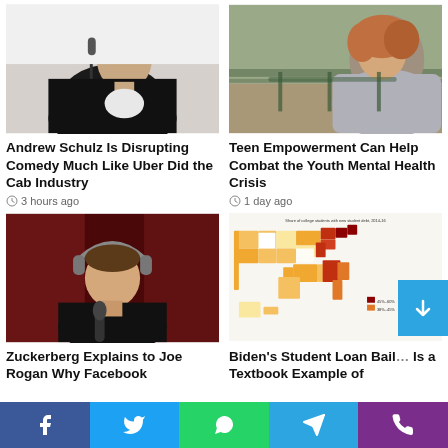[Figure (photo): Man sitting in podcast studio with microphone]
Andrew Schulz Is Disrupting Comedy Much Like Uber Did the Cab Industry
3 hours ago
[Figure (photo): Young woman sitting outdoors looking down, appearing sad]
Teen Empowerment Can Help Combat the Youth Mental Health Crisis
1 day ago
[Figure (photo): Mark Zuckerberg with headphones in podcast studio]
Zuckerberg Explains to Joe Rogan Why Facebook
[Figure (map): Choropleth map of USA showing share of college students with new student debt 2014-16, colored from yellow to dark red]
Biden's Student Loan Bail… Is a Textbook Example of